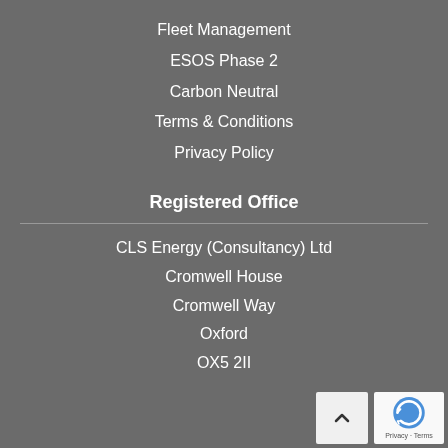Fleet Management
ESOS Phase 2
Carbon Neutral
Terms & Conditions
Privacy Policy
Registered Office
CLS Energy (Consultancy) Ltd
Cromwell House
Cromwell Way
Oxford
OX5 2II